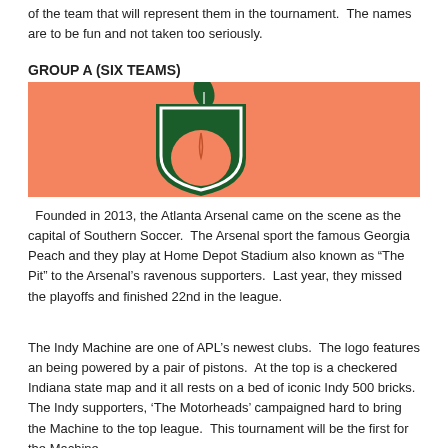of the team that will represent them in the tournament.  The names are to be fun and not taken too seriously.
GROUP A (SIX TEAMS)
[Figure (logo): Orange banner background with a partial Atlanta Arsenal logo — a green peach shield emblem with a green leaf on top and white outline, Atlanta Arsenal team logo on an orange/salmon colored rectangular background.]
Founded in 2013, the Atlanta Arsenal came on the scene as the capital of Southern Soccer.  The Arsenal sport the famous Georgia Peach and they play at Home Depot Stadium also known as "The Pit" to the Arsenal's ravenous supporters.  Last year, they missed the playoffs and finished 22nd in the league.
The Indy Machine are one of APL's newest clubs.  The logo features an being powered by a pair of pistons.  At the top is a checkered Indiana state map and it all rests on a bed of iconic Indy 500 bricks.  The Indy supporters, 'The Motorheads' campaigned hard to bring the Machine to the top league.  This tournament will be the first for the Machine.